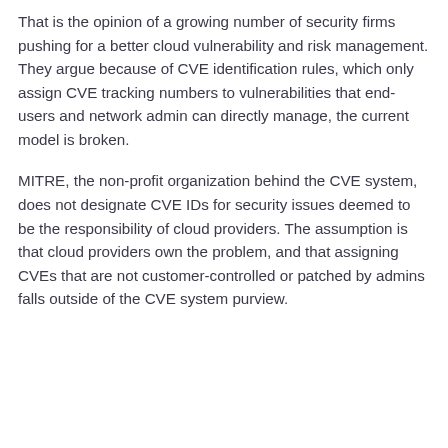That is the opinion of a growing number of security firms pushing for a better cloud vulnerability and risk management. They argue because of CVE identification rules, which only assign CVE tracking numbers to vulnerabilities that end-users and network admin can directly manage, the current model is broken.
MITRE, the non-profit organization behind the CVE system, does not designate CVE IDs for security issues deemed to be the responsibility of cloud providers. The assumption is that cloud providers own the problem, and that assigning CVEs that are not customer-controlled or patched by admins falls outside of the CVE system purview.